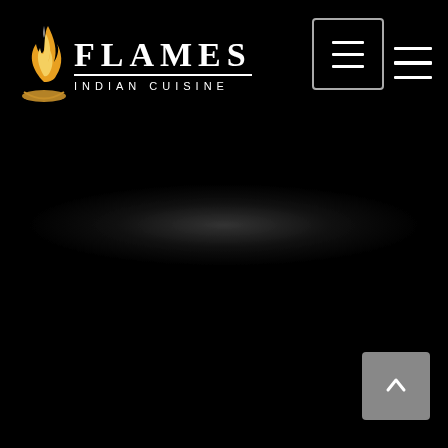[Figure (logo): Flames Indian Cuisine logo with flame icon, text FLAMES in large serif font, underline, and subtitle INDIAN CUISINE in spaced capitals]
[Figure (screenshot): Dark black textured background resembling a dark stone or asphalt surface, with a navigation header bar at the top containing the Flames Indian Cuisine logo on the left and hamburger menu icons on the right. A scroll-to-top arrow button appears in the bottom right corner.]